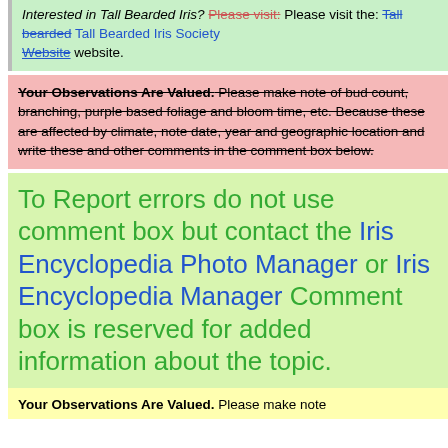Interested in Tall Bearded Iris? Please visit: Please visit the: Tall bearded Tall Bearded Iris Society Website website.
Your Observations Are Valued. Please make note of bud count, branching, purple based foliage and bloom time, etc. Because these are affected by climate, note date, year and geographic location and write these and other comments in the comment box below.
To Report errors do not use comment box but contact the Iris Encyclopedia Photo Manager or Iris Encyclopedia Manager Comment box is reserved for added information about the topic.
Your Observations Are Valued. Please make note